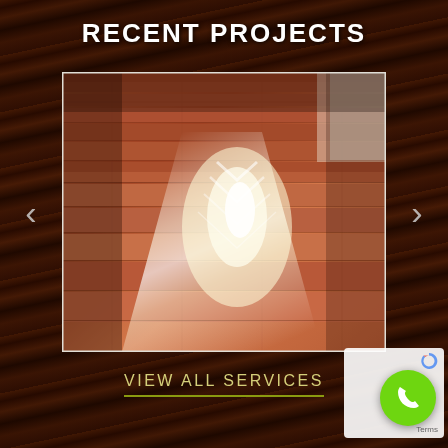RECENT PROJECTS
[Figure (photo): Polished hardwood floor with glossy finish reflecting light, showing intricate wood grain patterns in reddish-brown tones]
VIEW ALL SERVICES
[Figure (other): Green circular phone call button with phone icon, and partial Google Maps branding with Terms text]